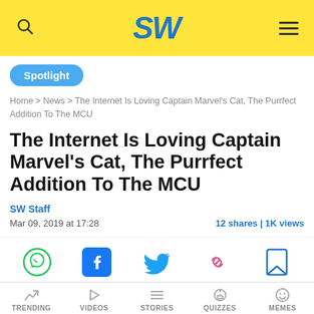SW
Spotlight
Home > News > The Internet Is Loving Captain Marvel's Cat, The Purrfect Addition To The MCU
The Internet Is Loving Captain Marvel's Cat, The Purrfect Addition To The MCU
SW Staff
Mar 09, 2019 at 17:28
12 shares | 1K views
[Figure (infographic): Social share icons: WhatsApp (green), Facebook (blue), Twitter (blue bird), Link/chain (pink), Bookmark (blue outline)]
TRENDING  VIDEOS  STORIES  QUIZZES  MEMES